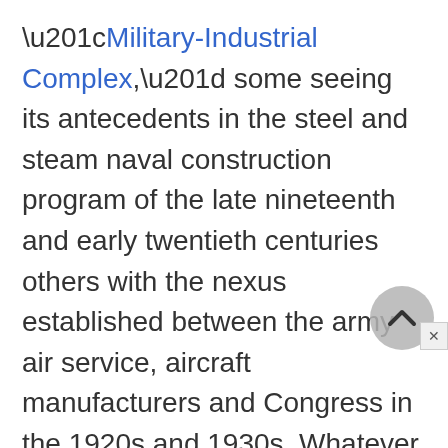“Military-Industrial Complex,” some seeing its antecedents in the steel and steam naval construction program of the late nineteenth and early twentieth centuries others with the nexus established between the army air service, aircraft manufacturers and Congress in the 1920s and 1930s. Whatever the origins, the scale of industrial development and production of weaponry on a sustained basis has grown extraordinarily in the last sixty years, a period when, as Michael